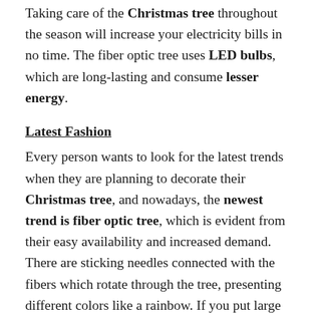Taking care of the Christmas tree throughout the season will increase your electricity bills in no time. The fiber optic tree uses LED bulbs, which are long-lasting and consume lesser energy.
Latest Fashion
Every person wants to look for the latest trends when they are planning to decorate their Christmas tree, and nowadays, the newest trend is fiber optic tree, which is evident from their easy availability and increased demand. There are sticking needles connected with the fibers which rotate through the tree, presenting different colors like a rainbow. If you put large ornaments on the lower side of the tree, it